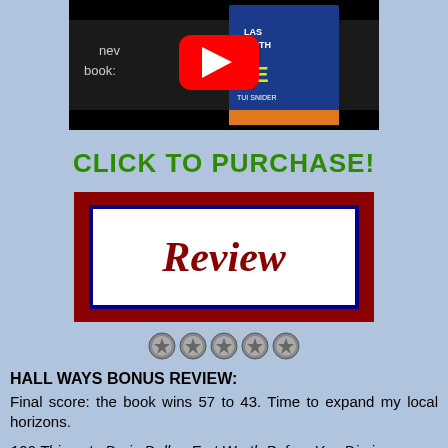[Figure (screenshot): YouTube video thumbnail showing a book cover for '100 Things to Do in Dallas-Fort Worth Before You Die' by Tui Snider, with a YouTube play button overlay on a dark/black background.]
CLICK TO PURCHASE!
[Figure (illustration): A bordered box with dark red outer border and dark blue inner border on white background, containing the word 'Review' in a large italic serif font in dark red.]
[Figure (other): Five circular star/rating icons in a row indicating a rating.]
HALL WAYS BONUS REVIEW:
Final score: the book wins 57 to 43. Time to expand my local horizons.
100 Things to Do in Dallas-Fort Worth Before You Die is a fabulous guidebook that gives concise, but informative